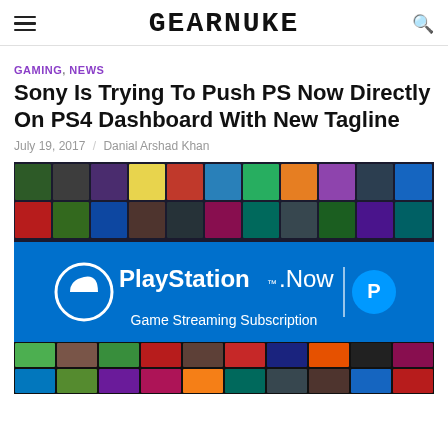GEARNUKE
GAMING, NEWS
Sony Is Trying To Push PS Now Directly On PS4 Dashboard With New Tagline
July 19, 2017 / Danial Arshad Khan
[Figure (photo): PlayStation Now Game Streaming Subscription promotional banner showing a grid of game covers at the top and bottom, with a blue central banner featuring the PlayStation Now logo and text 'Game Streaming Subscription']